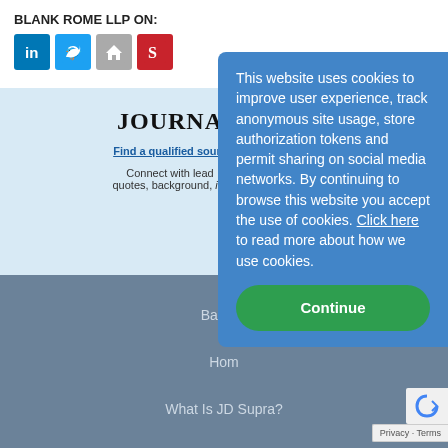BLANK ROME LLP ON:
[Figure (logo): Social media icons: LinkedIn (blue), Twitter (blue), Home (grey), Scribd (red)]
JOURNA
Find a qualified sourc
Connect with lead quotes, background, in-
Back to
Hom
What Is JD Supra?
This website uses cookies to improve user experience, track anonymous site usage, store authorization tokens and permit sharing on social media networks. By continuing to browse this website you accept the use of cookies. Click here to read more about how we use cookies.
Continue